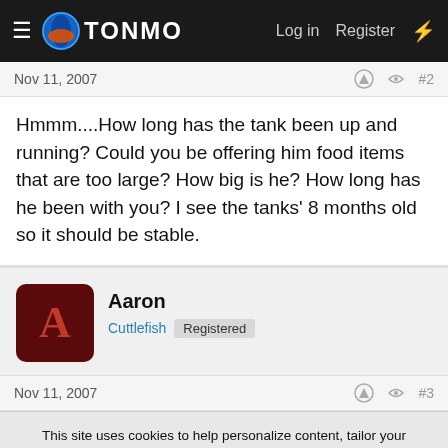TONMO — Log in  Register
Nov 11, 2007  #2
Hmmm....How long has the tank been up and running? Could you be offering him food items that are too large? How big is he? How long has he been with you? I see the tanks' 8 months old so it should be stable.
Aaron
Cuttlefish  Registered
Nov 11, 2007  #3
This site uses cookies to help personalize content, tailor your experience and to keep you logged in if you register.
By continuing to use this site, you are consenting to our use of cookies.